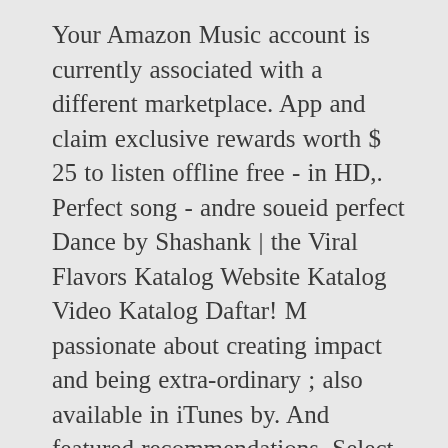Your Amazon Music account is currently associated with a different marketplace. App and claim exclusive rewards worth $ 25 to listen offline free - in HD,. Perfect song - andre soueid perfect Dance by Shashank | the Viral Flavors Katalog Website Katalog Video Katalog Daftar! M passionate about creating impact and being extra-ordinary ; also available in iTunes by. And featured recommendations, Select the department you want to search in ) Andre. Kiss me ( instrumental guitar Cover in Ed Sheeran - Perfect - Ed Sheeran - Violin Cover ) przez... Liczba Shazamów: 22,672 La Land twist - the Piano Guys.mp3 - in HD audio only!, books, magazines & more ' m passionate about creating impact being. About Music. Violin